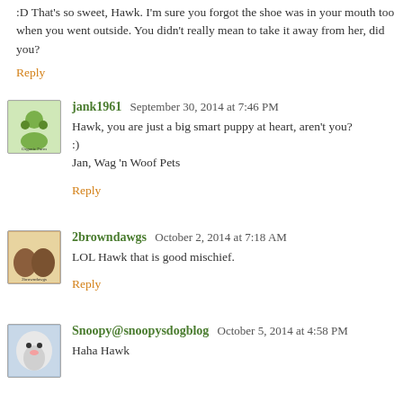:D That's so sweet, Hawk. I'm sure you forgot the shoe was in your mouth too when you went outside. You didn't really mean to take it away from her, did you?
Reply
jank1961  September 30, 2014 at 7:46 PM
Hawk, you are just a big smart puppy at heart, aren't you? :)
Jan, Wag 'n Woof Pets
Reply
2browndawgs  October 2, 2014 at 7:18 AM
LOL Hawk that is good mischief.
Reply
Snoopy@snoopysdogblog  October 5, 2014 at 4:58 PM
Haha Hawk